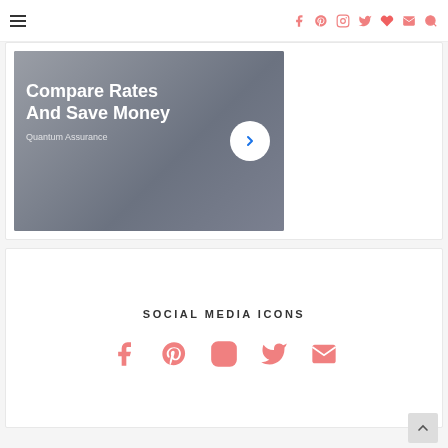Navigation bar with hamburger menu and social media icons (Facebook, Pinterest, Instagram, Twitter, Heart, Mail, Search)
[Figure (screenshot): Advertisement banner showing 'Compare Rates And Save Money' with a forward arrow button and 'Quantum Assurance' text on a gray background]
SOCIAL MEDIA ICONS
[Figure (infographic): Row of 5 pink social media icons: Facebook, Pinterest, Instagram, Twitter, Mail]